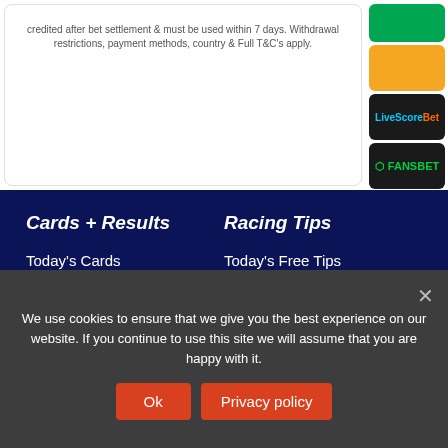credited after bet settlement & must be used within 7 days. Withdrawal restrictions, payment methods, country & Full T&C's apply.
Cards + Results
Racing Tips
Today's Cards
Today's Free Tips
Yesterday's Results
Today's Top Tips
We use cookies to ensure that we give you the best experience on our website. If you continue to use this site we will assume that you are happy with it.